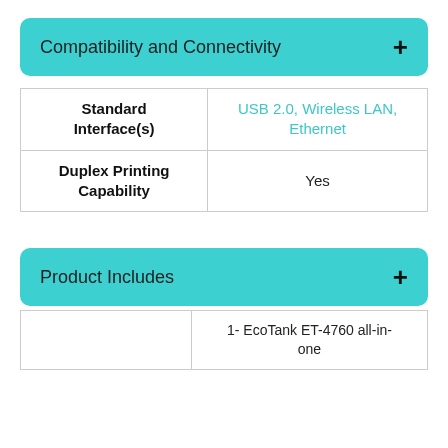Compatibility and Connectivity
| Standard Interface(s) | USB 2.0, Wireless LAN, Ethernet |
| Duplex Printing Capability | Yes |
Product Includes
|  | 1- EcoTank ET-4760 all-in-one |